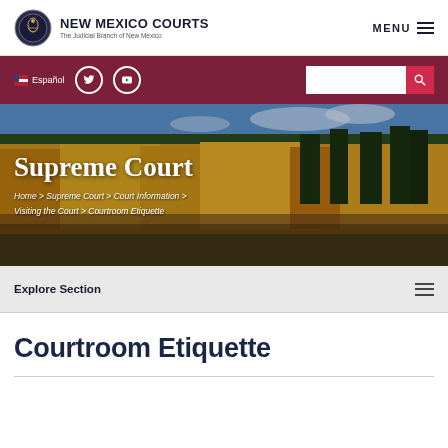NEW MEXICO COURTS — The Judicial Branch of New Mexico | MENU
[Figure (screenshot): New Mexico Courts website header with logo (circular seal), site title 'NEW MEXICO COURTS / The Judicial Branch of New Mexico', and MENU hamburger button on the right]
[Figure (screenshot): Maroon toolbar with flag icon, Español link, Twitter icon, YouTube icon, and search input with red search button]
[Figure (photo): Hero image of autumn aspen and evergreen trees on a New Mexico hillside under blue sky, with white text overlay]
Supreme Court
Home > Supreme Court > Court Information > Visiting the Court > Courtroom Etiquette
Explore Section
Courtroom Etiquette